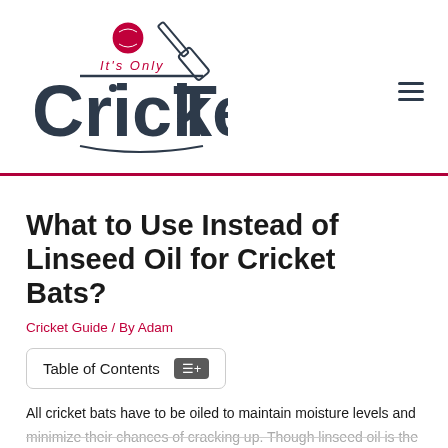[Figure (logo): It's Only Cricket logo with cricket ball and bat graphic, dark navy text 'CrickeT' with red accent 'It's Only' above]
What to Use Instead of Linseed Oil for Cricket Bats?
Cricket Guide / By Adam
Table of Contents
All cricket bats have to be oiled to maintain moisture levels and minimize their chances of cracking up. Though linseed oil is the